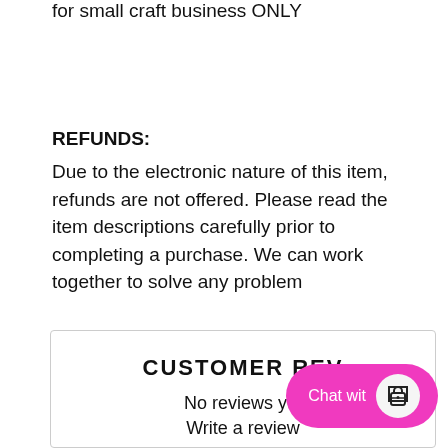for small craft business ONLY
REFUNDS:
Due to the electronic nature of this item, refunds are not offered. Please read the item descriptions carefully prior to completing a purchase. We can work together to solve any problem
CUSTOMER REVIEWS
No reviews yet
Write a review